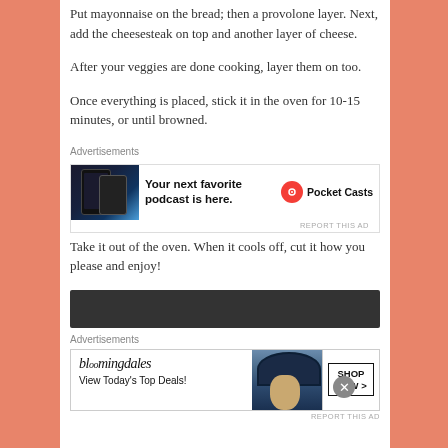Put mayonnaise on the bread; then a provolone layer. Next, add the cheesesteak on top and another layer of cheese.
After your veggies are done cooking, layer them on too.
Once everything is placed, stick it in the oven for 10-15 minutes, or until browned.
[Figure (other): Pocket Casts advertisement banner with phone screenshot and text: Your next favorite podcast is here.]
Take it out of the oven. When it cools off, cut it how you please and enjoy!
[Figure (other): Dark gray banner/bar advertisement area]
[Figure (other): Bloomingdale's advertisement: bloomingdales - View Today's Top Deals! with SHOP NOW > button and woman with large hat]